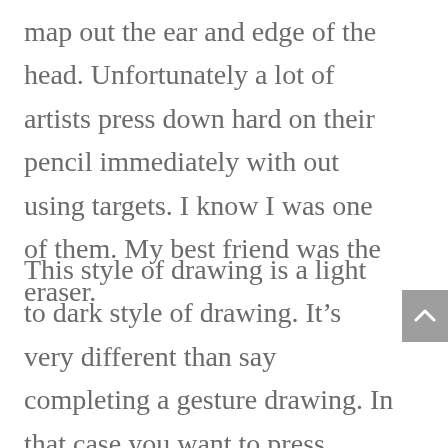map out the ear and edge of the head. Unfortunately a lot of artists press down hard on their pencil immediately with out using targets. I know I was one of them. My best friend was the eraser.
This style of drawing is a light to dark style of drawing. It's very different than say completing a gesture drawing. In that case you want to press down on your pencil immediately in order to create a confident powerful gesture.